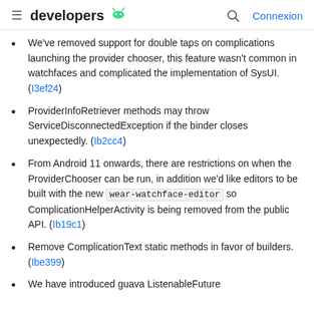developers [android logo] [search icon] Connexion
We've removed support for double taps on complications launching the provider chooser, this feature wasn't common in watchfaces and complicated the implementation of SysUI. (I3ef24)
ProviderInfoRetriever methods may throw ServiceDisconnectedException if the binder closes unexpectedly. (Ib2cc4)
From Android 11 onwards, there are restrictions on when the ProviderChooser can be run, in addition we'd like editors to be built with the new wear-watchface-editor so ComplicationHelperActivity is being removed from the public API. (Ib19c1)
Remove ComplicationText static methods in favor of builders. (Ibe399)
We have introduced guava ListenableFuture